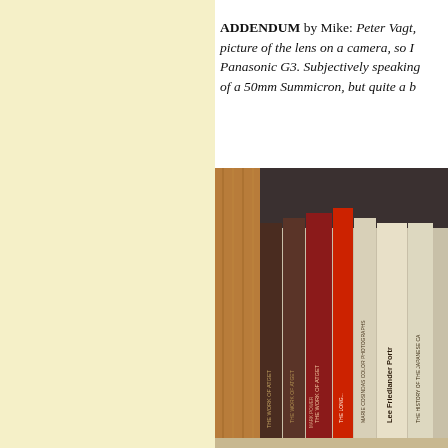ADDENDUM by Mike: Peter Vagt, picture of the lens on a camera, so I Panasonic G3. Subjectively speaking of a 50mm Summicron, but quite a b
[Figure (photo): Photo of a bookshelf with several books standing upright, including visible titles: The Work of Atget, Marie Cosindas Color Photographs, Lee Friedlander Portraits, The History of the Japanese Camera, and others. The shelf has a wooden frame on the left side.]